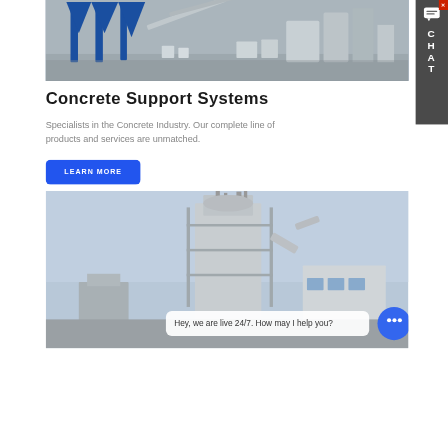[Figure (photo): Industrial concrete batching plant interior with blue metal support structures, conveyor belts, and machinery in a large warehouse]
Concrete Support Systems
Specialists in the Concrete Industry. Our complete line of products and services are unmatched.
LEARN MORE
[Figure (photo): Industrial asphalt or concrete plant exterior showing large machinery, silos, scaffolding against a blue sky. Chat bubble overlay reads: Hey, we are live 24/7. How may I help you?]